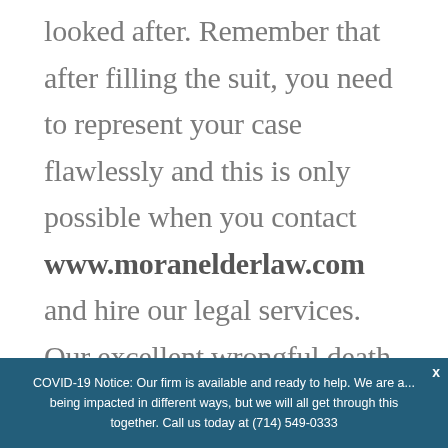looked after. Remember that after filling the suit, you need to represent your case flawlessly and this is only possible when you contact www.moranelderlaw.com and hire our legal services. Our excellent wrongful death attorney will definitely guide you throughout the case and will try his best to compensate you as well. So do not delay a moment and give us a direct call.
COVID-19 Notice: Our firm is available and ready to help. We are a... being impacted in different ways, but we will all get through this together. Call us today at (714) 549-0333